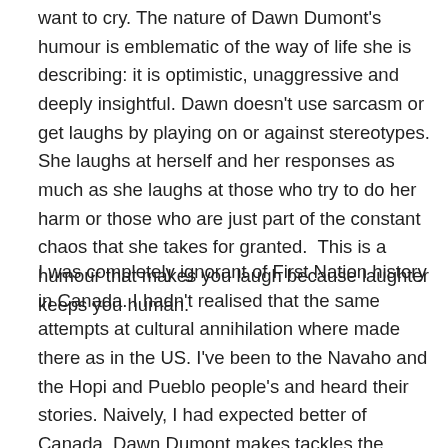want to cry. The nature of Dawn Dumont's humour is emblematic of the way of life she is describing: it is optimistic, unaggressive and deeply insightful. Dawn doesn't use sarcasm or get laughs by playing on or against stereotypes. She laughs at herself and her responses as much as she laughs at those who try to do her harm or those who are just part of the constant chaos that she takes for granted.  This is a humour that makes you laugh because laughter keeps you human.
I was completely ignorant of First Nation history in Canada. I hadn't realised that the same attempts at cultural annihilation where made there as in the US. I've been to the Navaho and the Hopi and Pueblo people's and heard their stories. Naively, I had expected better of Canada. Dawn Dumont makes tackles the history of her people in a matter of fact way that does not dismiss or